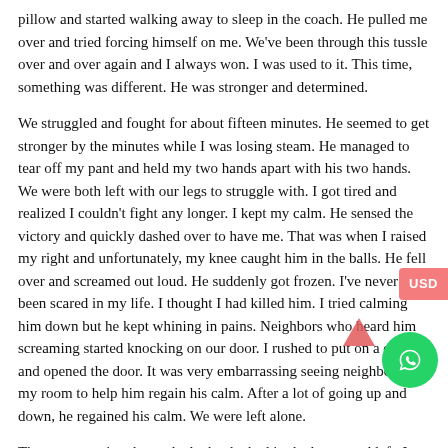pillow and started walking away to sleep in the coach. He pulled me over and tried forcing himself on me. We've been through this tussle over and over again and I always won. I was used to it. This time, something was different. He was stronger and determined.
We struggled and fought for about fifteen minutes. He seemed to get stronger by the minutes while I was losing steam. He managed to tear off my pant and held my two hands apart with his two hands. We were both left with our legs to struggle with. I got tired and realized I couldn't fight any longer. I kept my calm. He sensed the victory and quickly dashed over to have me. That was when I raised my right and unfortunately, my knee caught him in the balls. He fell over and screamed out loud. He suddenly got frozen. I've never been scared in my life. I thought I had killed him. I tried calming him down but he kept whining in pains. Neighbors who heard him screaming started knocking on our door. I rushed to put on a dress and opened the door. It was very embarrassing seeing neighbors in my room to help him regain his calm. After a lot of going up and down, he regained his calm. We were left alone.
The next morning, he packed what he had in the house and left. I didn't ask him any question. I feared he might hit me. I left to my